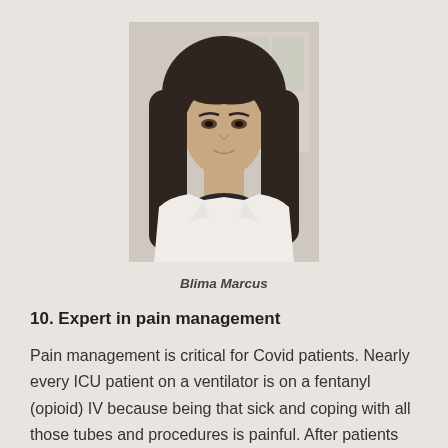[Figure (photo): Portrait photo of Blima Marcus, a woman with long dark hair and bangs, wearing a white coat, photographed indoors.]
Blima Marcus
10. Expert in pain management
Pain management is critical for Covid patients. Nearly every ICU patient on a ventilator is on a fentanyl (opioid) IV because being that sick and coping with all those tubes and procedures is painful. After patients recover,